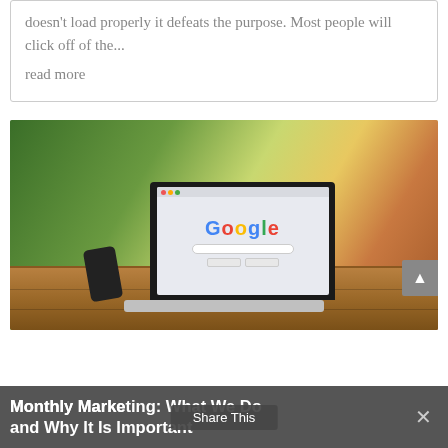doesn't load properly it defeats the purpose. Most people will click off of the...
read more
[Figure (photo): A MacBook laptop showing the Google homepage on screen, placed on a wooden outdoor table with a smartphone lying next to it. Greenery and flowers visible in the background.]
Monthly Marketing: What We Do and Why It Is Important